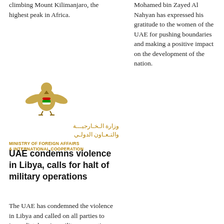climbing Mount Kilimanjaro, the highest peak in Africa.
Mohamed bin Zayed Al Nahyan has expressed his gratitude to the women of the UAE for pushing boundaries and making a positive impact on the development of the nation.
[Figure (logo): UAE Ministry of Foreign Affairs & International Cooperation logo with eagle emblem and Arabic and English text]
UAE condemns violence in Libya, calls for halt of military operations
The UAE has condemned the violence in Libya and called on all parties to immediately seize military operations.